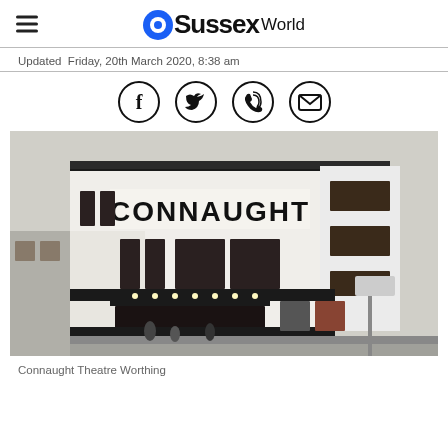OSussex World
Updated  Friday, 20th March 2020, 8:38 am
[Figure (photo): Photograph of the Connaught Theatre in Worthing — a white Art Deco building with the word CONNAUGHT on the facade, black horizontal banding, large windows, and a canopied entrance.]
Connaught Theatre Worthing